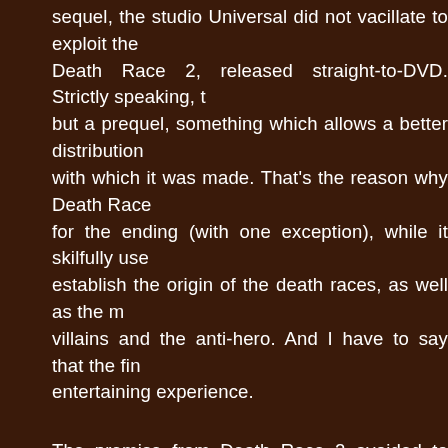sequel, the studio Universal did not vacillate to exploit the Death Race 2, released straight-to-DVD. Strictly speaking, but a prequel, something which allows a better distribution with which it was made. That's the reason why Death Race for the ending (with one exception), while it skilfully use establish the origin of the death races, as well as the m villains and the anti-hero. And I have to say that the fin entertaining experience.
The premise from Death Race 2 avoided to become into a Death Race. I particularly liked to see the fact that the "hero accused martyr, nor he is trying to prove his innocence. T voluntarily participated in a crime with disastrous cons conviction in the jail is justified; that is the way in which t "real" villains is accentuated, because their total lack of illegal...just lucrative. Talking about the villains, the co prominently mentions the presence from the excellent acto Ving Rhames. Unfortunately, my expectations of seeing the characters was unfounded, because they both interpret su who are not seen involved in the action. That is a pity, be Luke Goss as the main actor by default, and he is a bit i charismatic in his role. I would have undoubtedly preferred or Rhames in that role.